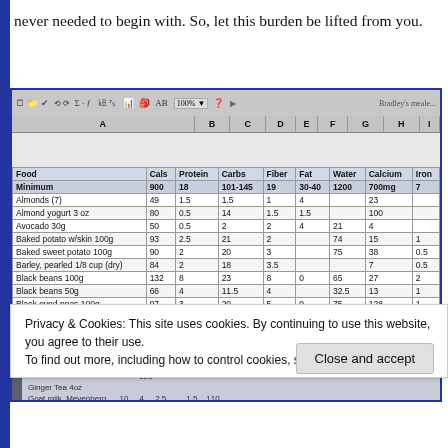never needed to begin with. So, let this burden be lifted from you.
[Figure (screenshot): Screenshot of a spreadsheet (Excel-like) showing a nutrition data table with columns: Food, Cals, Protein, Carbs, Fiber, Fat, Water, Calcium, Iron. Rows include various foods like Almonds, Almond yogurt, Avocado, Baked potato, Baked sweet potato, Barley, Black beans, Black eyed peas, Bread (Ezekiel). A cookie consent banner overlays the bottom portion.]
Privacy & Cookies: This site uses cookies. By continuing to use this website, you agree to their use.
To find out more, including how to control cookies, see here: Cookie Policy
Close and accept